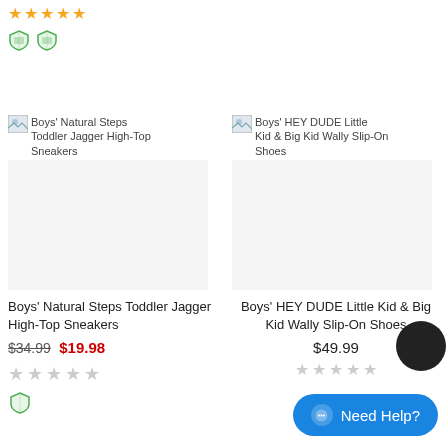[Figure (other): Five gold star rating icons at top of page]
[Figure (other): Two shield/badge icons below star rating]
[Figure (other): Product image placeholder for Boys' Natural Steps Toddler Jagger High-Top Sneakers with shield icon]
Boys' Natural Steps Toddler Jagger High-Top Sneakers
[Figure (other): Product image placeholder for Boys' HEY DUDE Little Kid & Big Kid Wally Slip-On Shoes with shield icon]
Boys' HEY DUDE Little Kid & Big Kid Wally Slip-On Shoes
Boys' Natural Steps Toddler Jagger High-Top Sneakers
$34.99 $19.98
Boys' HEY DUDE Little Kid & Big Kid Wally Slip-On Shoes
$49.99
Need Help?